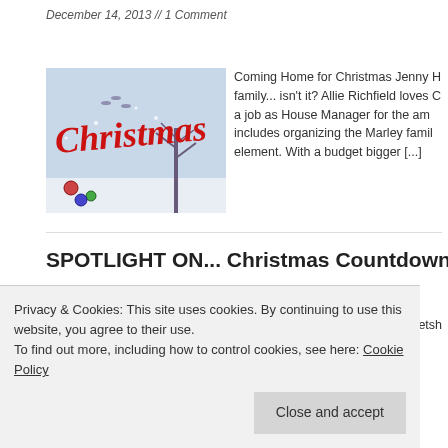December 14, 2013 // 1 Comment
[Figure (illustration): Book cover for 'Coming Home for Christmas' with red cursive 'Christmas' text and snowy winter tree background]
Coming Home for Christmas Jenny H family... isn't it? Allie Richfield loves C a job as House Manager for the am includes organizing the Marley famil element. With a budget bigger [...]
SPOTLIGHT ON... Christmas Countdown: De
December 13, 2013 // 1 Comment
[Figure (illustration): Book cover with 'COLGAN' text in red background]
Christmas at Rosie Hopkins' Sweetsh
Privacy & Cookies: This site uses cookies. By continuing to use this website, you agree to their use.
To find out more, including how to control cookies, see here: Cookie Policy